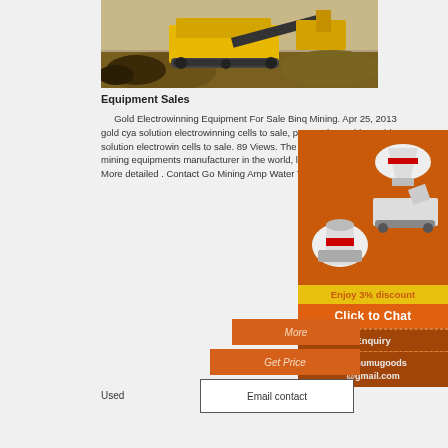[Figure (photo): Mining equipment / crusher machine on a construction/mining site outdoors]
Equipment Sales
Gold Electrowinning Equipment For Sale Binq Mining. Apr 25, 2013 gold cya solution electrowinning cells to sale, pro crusher gold cyanide solution electrowin cells to sale. 89 Views. The Zenith is the professional mining equipments manufacturer in the world, located in China,India , More detailed . Contact Go Mining Amp Water Treatment Process
[Figure (infographic): Orange advertisement sidebar showing mining/crushing machines, '3% discount', 'Click to Chat', 'Enquiry', and 'mumumugoods@gmail.com']
More
Get Price
Used
Email contact